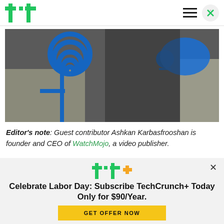TechCrunch header with TC logo, hamburger menu, and close button
[Figure (photo): Article image showing robotic or scientific equipment with blue overlay graphics including a spiral and running figure silhouette]
Editor's note: Guest contributor Ashkan Karbasfrooshan is founder and CEO of WatchMojo, a video publisher.
[Figure (logo): TC+ logo with green TC and orange plus sign]
Celebrate Labor Day: Subscribe TechCrunch+ Today Only for $90/Year.
GET OFFER NOW